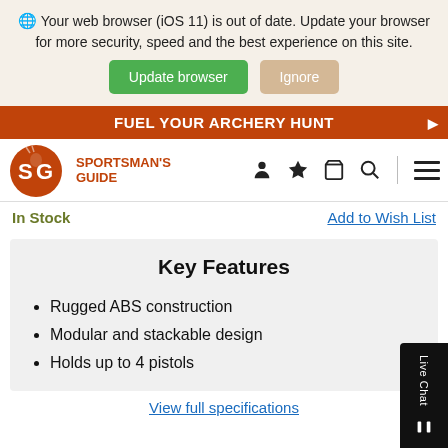🌐 Your web browser (iOS 11) is out of date. Update your browser for more security, speed and the best experience on this site.
Update browser  Ignore
FUEL YOUR ARCHERY HUNT
[Figure (logo): Sportsman's Guide SG logo with deer head icon, orange circular logo with SG letters]
In Stock
Add to Wish List
Key Features
Rugged ABS construction
Modular and stackable design
Holds up to 4 pistols
View full specifications